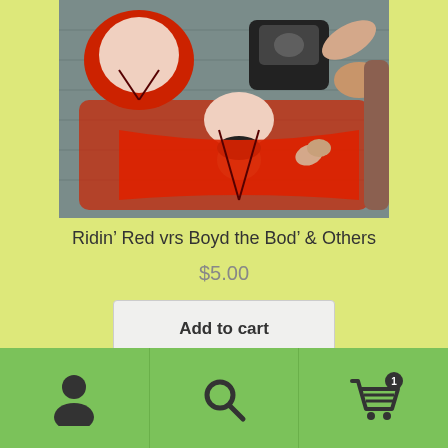[Figure (photo): Product image showing 3D rendered figures in wrestling/action scene with red and black costumes on a wooden floor background]
Ridin’ Red vrs Boyd the Bod’ & Others
$5.00
Add to cart
[Figure (other): Bottom navigation bar with green background showing user/account icon, search icon, and shopping cart icon with badge showing 1 item]